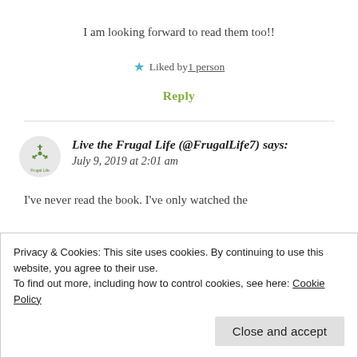I am looking forward to read them too!!
★ Liked by 1 person
Reply
Live the Frugal Life (@FrugalLife7) says: July 9, 2019 at 2:01 am
I've never read the book. I've only watched the
Privacy & Cookies: This site uses cookies. By continuing to use this website, you agree to their use.
To find out more, including how to control cookies, see here: Cookie Policy
Close and accept